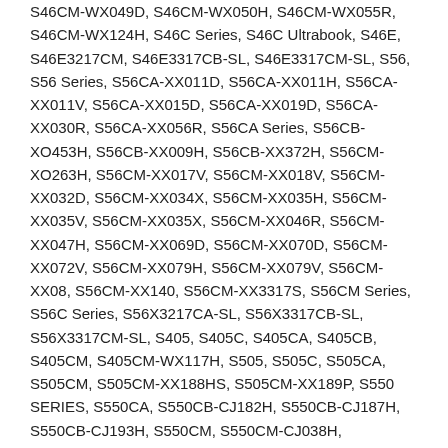S46CM-WX049D, S46CM-WX050H, S46CM-WX055R, S46CM-WX124H, S46C Series, S46C Ultrabook, S46E, S46E3217CM, S46E3317CB-SL, S46E3317CM-SL, S56, S56 Series, S56CA-XX011D, S56CA-XX011H, S56CA-XX011V, S56CA-XX015D, S56CA-XX019D, S56CA-XX030R, S56CA-XX056R, S56CA Series, S56CB-XO453H, S56CB-XX009H, S56CB-XX372H, S56CM-XO263H, S56CM-XX017V, S56CM-XX018V, S56CM-XX032D, S56CM-XX034X, S56CM-XX035H, S56CM-XX035V, S56CM-XX035X, S56CM-XX046R, S56CM-XX047H, S56CM-XX069D, S56CM-XX070D, S56CM-XX072V, S56CM-XX079H, S56CM-XX079V, S56CM-XX08, S56CM-XX140, S56CM-XX3317S, S56CM Series, S56C Series, S56X3217CA-SL, S56X3317CB-SL, S56X3317CM-SL, S405, S405C, S405CA, S405CB, S405CM, S405CM-WX117H, S505, S505C, S505CA, S505CM, S505CM-XX188HS, S505CM-XX189P, S550 SERIES, S550CA, S550CB-CJ182H, S550CB-CJ187H, S550CB-CJ193H, S550CM, S550CM-CJ038H, S550X3217CM-SL, S550X3317CM-SL, S550X3517CM-SL, S550XI3517CB-SL, U48, U48C, U48CA, U48CB, U48CM, U58, U58C, U58CA, U58CB, U58CM, V550, V550C, V550CA, V550CB-CJ113H,